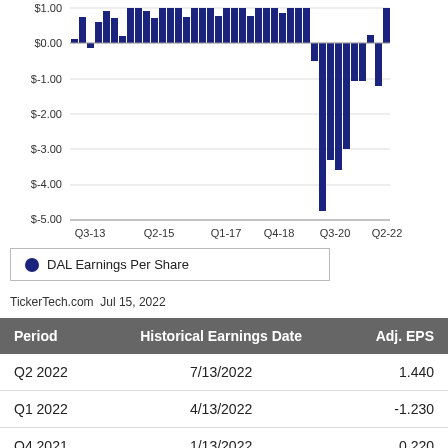[Figure (bar-chart): Bar chart of DAL Earnings Per Share from Q3-13 through Q2-22. Values range from approximately $1.00 during 2013-2019 to a low of about -$4.76 around Q3-2020, with partial recovery to $1.44 in Q2-2022.]
TickerTech.com  Jul 15, 2022
| Period | Historical Earnings Date | Adj. EPS |
| --- | --- | --- |
| Q2 2022 | 7/13/2022 | 1.440 |
| Q1 2022 | 4/13/2022 | -1.230 |
| Q4 2021 | 1/13/2022 | 0.220 |